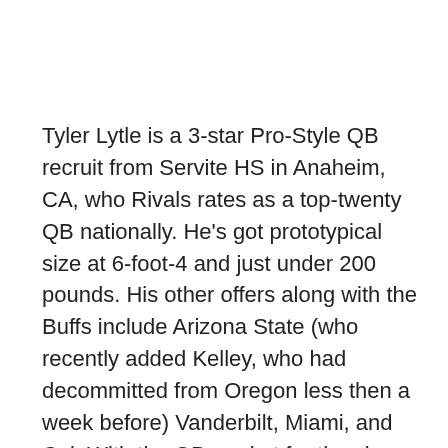Tyler Lytle is a 3-star Pro-Style QB recruit from Servite HS in Anaheim, CA, who Rivals rates as a top-twenty QB nationally. He's got prototypical size at 6-foot-4 and just under 200 pounds. His other offers along with the Buffs include Arizona State (who recently added Kelley, who had decommitted from Oregon less then a week before) Vanderbilt, Miami, and Cal. With the QB market for the class of 2017 drying up quickly, Lytle has recently received a ton of interest from schools who are still in need of a QB.
Lytle made it clear very early on that he is not into hyping up his recruitment the way other recruits from